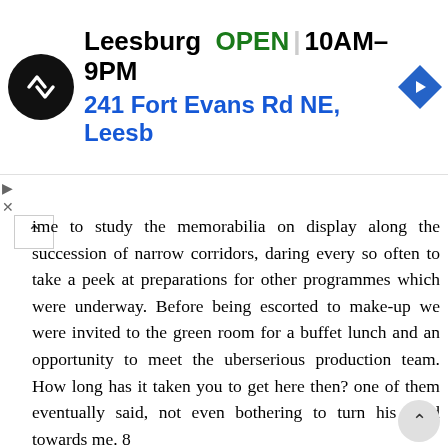[Figure (infographic): Advertisement banner for Leesburg store showing logo, OPEN status, hours 10AM-9PM, address 241 Fort Evans Rd NE, Leesb, and navigation arrow icon]
ime to study the memorabilia on display along the succession of narrow corridors, daring every so often to take a peek at preparations for other programmes which were underway. Before being escorted to make-up we were invited to the green room for a buffet lunch and an opportunity to meet the uberserious production team. How long has it taken you to get here then? one of them eventually said, not even bothering to turn his head towards me. 8
9 Just over forty-four years, I quipped. Nervously nibbling at the sandwiches, we watched as previous editions of the prime-time show, were being replayed over and over again. Nigel and I thought it funny that seemingly rational people were suddenly transformed into gibbering idiots, the second they were placed in front of the television cameras. Ushered into make-up, we listened with interest to gossip about other high profile projects which the chirpy